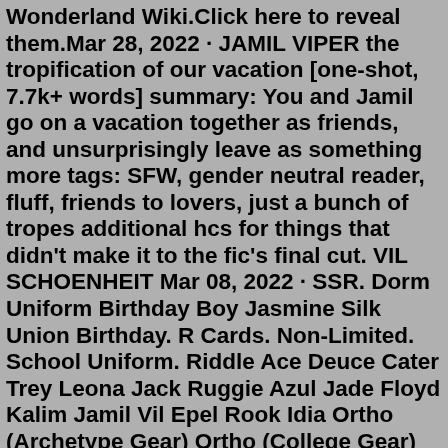Wonderland Wiki.Click here to reveal them.Mar 28, 2022 · JAMIL VIPER the tropification of our vacation [one-shot, 7.7k+ words] summary: You and Jamil go on a vacation together as friends, and unsurprisingly leave as something more tags: SFW, gender neutral reader, fluff, friends to lovers, just a bunch of tropes additional hcs for things that didn't make it to the fic's final cut. VIL SCHOENHEIT Mar 08, 2022 · SSR. Dorm Uniform Birthday Boy Jasmine Silk Union Birthday. R Cards. Non-Limited. School Uniform. Riddle Ace Deuce Cater Trey Leona Jack Ruggie Azul Jade Floyd Kalim Jamil Vil Epel Rook Idia Ortho (Archetype Gear) Ortho (College Gear) Malleus Silver Sebek Lilia. PE Uniform. Mar 08, 2022 · SSR. Dorm Uniform Birthday Boy Jasmine Silk Union Birthday. R Cards. Non-Limited. School Uniform. Riddle Ace Deuce Cater Trey Leona Jack Ruggie Azul Jade Floyd Kalim Jamil Vil Epel Rook Idia Ortho (Archetype Gear) Ortho (College Gear) Malleus Silver Sebek Lilia. PE Uniform. With a shot of well-aimed wind magic, Kalim, Grim, and the trio